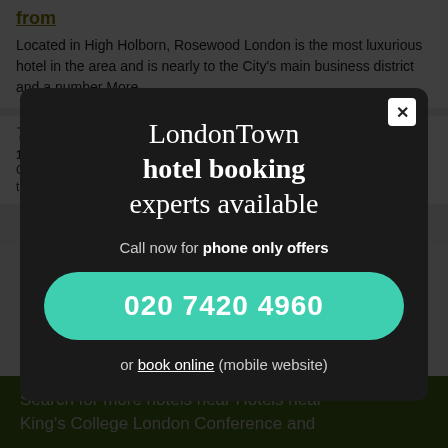from
Located in High Holborn, Rosewood London is the most luxurious hotel in the area and is nearby to the City's main business district and a number More...
The Montague on The Gardens
15 Montague Street, WC1B 5BJ, 43 minutes walk from
Overlooking the beautiful Bloomsbury Square, this elegant property is run through the brand's ... with Clement Gardens More...
[Figure (screenshot): Modal popup overlay on a hotel booking website. Title reads 'LondonTown hotel booking experts available'. Subtitle: 'Call now for phone only offers'. Phone number button: '020 7420 4960'. Link: 'or book online (mobile website)'. Close button (x) in top right corner.]
Search for more hotels near Hotels near King's College London Conference and